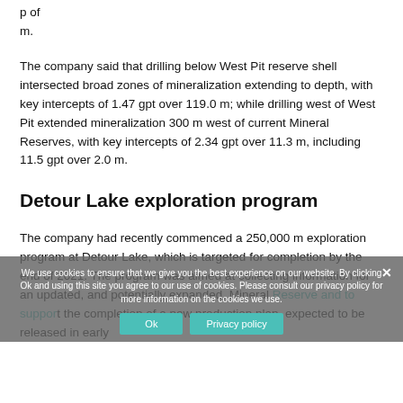p of m.
The company said that drilling below West Pit reserve shell intersected broad zones of mineralization extending to depth, with key intercepts of 1.47 gpt over 119.0 m; while drilling west of West Pit extended mineralization 300 m west of current Mineral Reserves, with key intercepts of 2.34 gpt over 11.3 m, including 11.5 gpt over 2.0 m.
Detour Lake exploration program
The company had recently commenced a 250,000 m exploration program at Detour Lake, which is targeted for completion by the end of 2021. The program was aimed at collecting information for an updated, and potentially expanded, Mineral Reserve and to support the completion of a new production plan, expected to be released in early